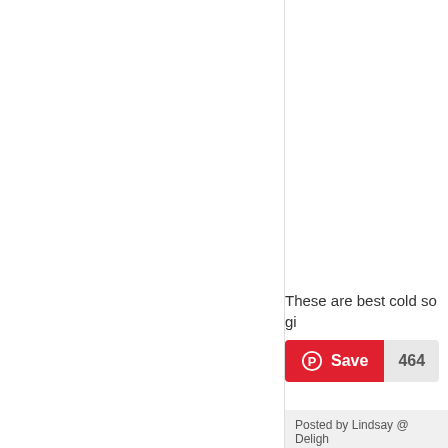[Figure (photo): Left panel image area (blank/cropped food photo)]
These are best cold so gi
Save 464
Posted by Lindsay @ Deligh
Labels: recipes